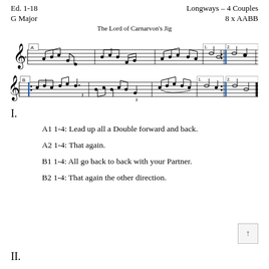Ed. 1-18    Longways – 4 Couples
G Major    8 x AABB
The Lord of Carnarvon's Jig
[Figure (illustration): Musical notation for 'The Lord of Carnarvon's Jig' in G Major, showing two staves with sections A and B, including repeat signs and first/second endings.]
I.
A1 1-4: Lead up all a Double forward and back.
A2 1-4: That again.
B1 1-4: All go back to back with your Partner.
B2 1-4: That again the other direction.
II.